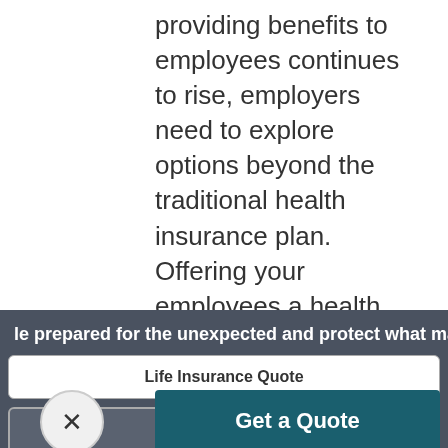providing benefits to employees continues to rise, employers need to explore options beyond the traditional health insurance plan. Offering your employees a health savings account can be a cost-effective way to enhance your benefit plan while providing both immediate and long-term value.
Get a Quote
le prepared for the unexpected and protect what matt
Life Insurance Quote
All Other Quotes